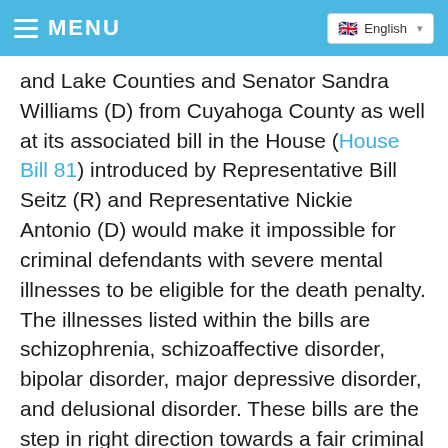MENU | English
and Lake Counties and Senator Sandra Williams (D) from Cuyahoga County as well at its associated bill in the House (House Bill 81) introduced by Representative Bill Seitz (R) and Representative Nickie Antonio (D) would make it impossible for criminal defendants with severe mental illnesses to be eligible for the death penalty. The illnesses listed within the bills are schizophrenia, schizoaffective disorder, bipolar disorder, major depressive disorder, and delusional disorder. These bills are the step in right direction towards a fair criminal justice system.
Ohio's track record with fair and equitable application of the death penalty is abysmal. In 2007, the American Bar Association (ABA) found that Ohio failed to meet 93% of their standards for a fair and accurate state death penalty system.